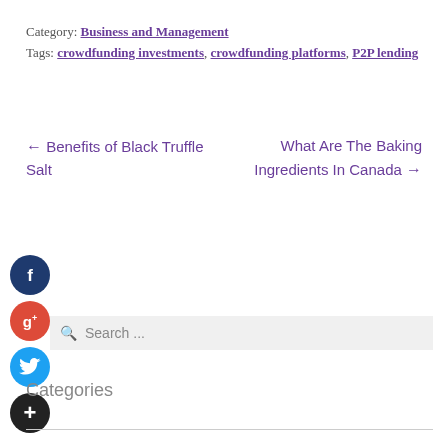Category: Business and Management
Tags: crowdfunding investments, crowdfunding platforms, P2P lending
← Benefits of Black Truffle Salt
What Are The Baking Ingredients In Canada →
[Figure (other): Social media share icons: Facebook (dark blue), Google+ (red), Twitter (light blue), and a dark plus button]
Search ...
Categories